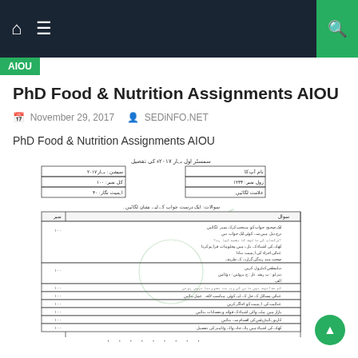PhD Food & Nutrition Assignments AIOU
PhD Food & Nutrition Assignments AIOU
November 29, 2017  SEDiNFO.NET
PhD Food & Nutrition Assignments AIOU
[Figure (other): Scanned Urdu-language assignment form/table for PhD Food & Nutrition from AIOU, showing watermarked document with 'WWW.SEDINFO.NET' watermark, containing header information boxes and a multi-row table with Urdu text questions and marks columns.]
· · · · · · · · ·